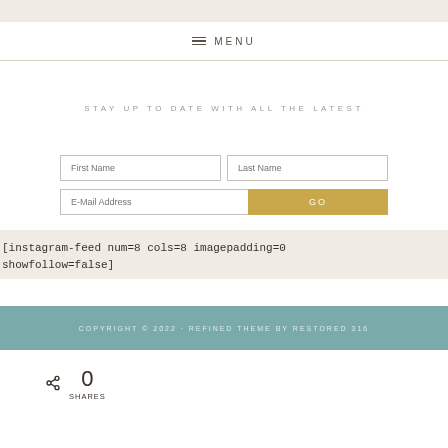MENU
STAY UP TO DATE WITH ALL THE LATEST
First Name | Last Name | E-Mail Address | GO
[instagram-feed num=8 cols=8 imagepadding=0 showfollow=false]
COPYRIGHT © 2022 · REFINED THEME BY RESTORED 316
0 SHARES